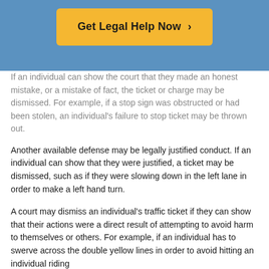[Figure (other): Blue header background banner with a yellow/orange 'Get Legal Help Now >' button centered on it]
If an individual can show the court that they made an honest mistake, or a mistake of fact, the ticket or charge may be dismissed. For example, if a stop sign was obstructed or had been stolen, an individual's failure to stop ticket may be thrown out.
Another available defense may be legally justified conduct. If an individual can show that they were justified, a ticket may be dismissed, such as if they were slowing down in the left lane in order to make a left hand turn.
A court may dismiss an individual's traffic ticket if they can show that their actions were a direct result of attempting to avoid harm to themselves or others. For example, if an individual has to swerve across the double yellow lines in order to avoid hitting an individual riding...